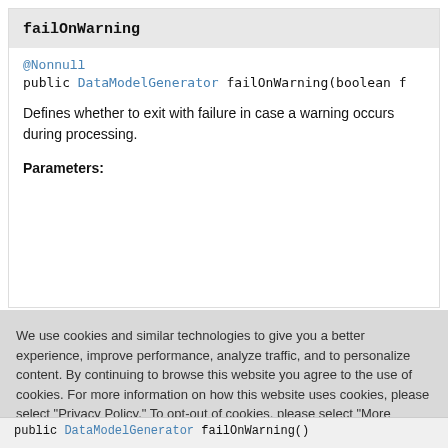failOnWarning
@Nonnull
public DataModelGenerator failOnWarning(boolean f
Defines whether to exit with failure in case a warning occurs during processing.
Parameters:
We use cookies and similar technologies to give you a better experience, improve performance, analyze traffic, and to personalize content. By continuing to browse this website you agree to the use of cookies. For more information on how this website uses cookies, please select "Privacy Policy." To opt-out of cookies, please select "More Information."
Accept Cookies
More Information
Privacy Policy | Powered by: TrustArc
public DataModelGenerator failOnWarning()